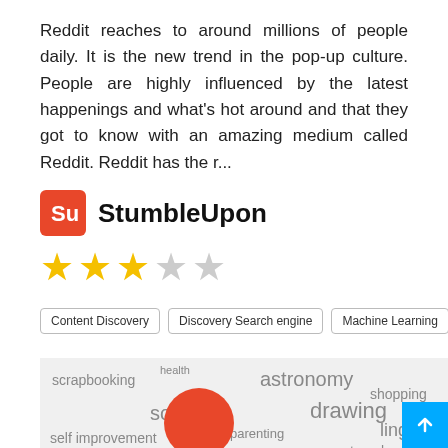Reddit reaches to around millions of people daily. It is the new trend in the pop-up culture. People are highly influenced by the latest happenings and what's hot around and that they got to know with an amazing medium called Reddit. Reddit has the r...
StumbleUpon
[Figure (other): 3 out of 5 stars rating shown as yellow filled stars and grey empty stars]
Content Discovery
Discovery Search engine
Machine Learning
Web World
[Figure (infographic): Word cloud showing various interest categories including scrapbooking, health, astronomy, shopping, soccer, drawing, parenting, linguistics, self improvement, jazz, travel]